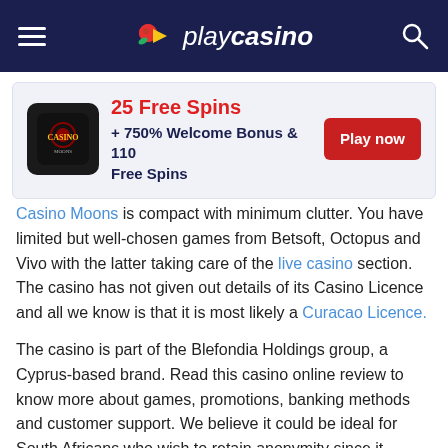playcasino
[Figure (infographic): Casino Moons promotional card: 25 Free Spins + 750% Welcome Bonus & 110 Free Spins, with Play now button]
Casino Moons is compact with minimum clutter. You have limited but well-chosen games from Betsoft, Octopus and Vivo with the latter taking care of the live casino section. The casino has not given out details of its Casino Licence and all we know is that it is most likely a Curacao Licence.
The casino is part of the Blefondia Holdings group, a Cyprus-based brand. Read this casino online review to know more about games, promotions, banking methods and customer support. We believe it could be ideal for South Africans who wish to retain anonymity since it